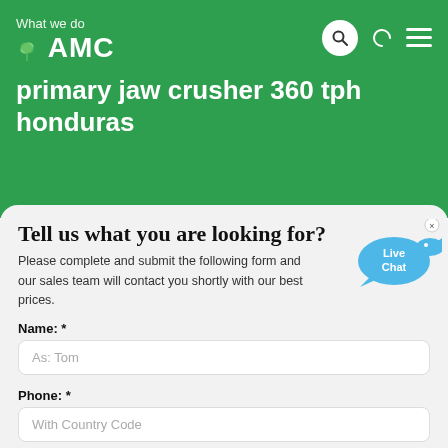What we do AMC primary jaw crusher 360 tph honduras
Tell us what you are looking for?
Please complete and submit the following form and our sales team will contact you shortly with our best prices.
Name: *
As: Tom
Email: *
As: vip@shanghaimeilan.com
Phone: *
With Country Code